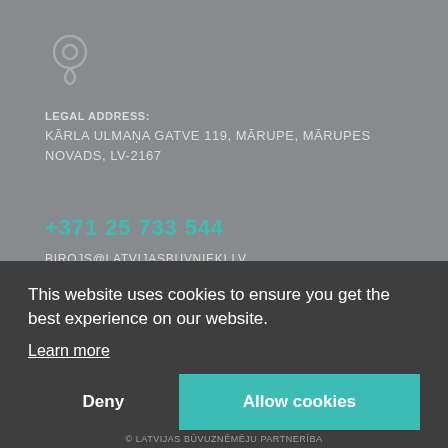[Figure (illustration): Location pin / map marker icon in light grey outline style]
LEGAL ADDRESS:
KĀRLA ULMAŅA GATVE 119, MĀRUPE, MĀRUPES NOVADS, LV-2167
+371 25 733 544
BIROJS@LATVIJASBUVNIEKI.LV
[Figure (illustration): Key icon in light grey outline style]
This website uses cookies to ensure you get the best experience on our website.
Learn more
Deny
Allow cookies
© LATVIJAS BŪVUZNĒMĒJU PARTNERĪBA